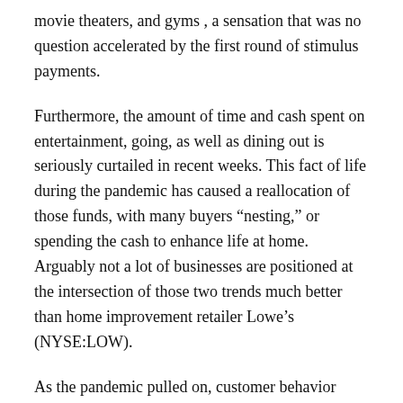movie theaters, and gyms , a sensation that was no question accelerated by the first round of stimulus payments.
Furthermore, the amount of time and cash spent on entertainment, going, as well as dining out is seriously curtailed in recent weeks. This fact of life during the pandemic has caused a reallocation of those funds, with many buyers “nesting,” or spending the cash to enhance life at home. Arguably not a lot of businesses are positioned at the intersection of those two trends much better than home improvement retailer Lowe’s (NYSE:LOW).
As the pandemic pulled on, customer behavior shifted, having a growing focus on home improvements, renovations, remodeling, repairs, and upkeep and away from the aforementioned aspects of discretionary spending.